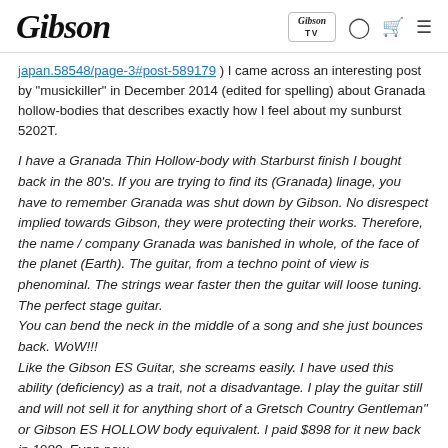Gibson | Gibson TV
japan.58548/page-3#post-589179 ) I came across an interesting post by "musickiller" in December 2014 (edited for spelling) about Granada hollow-bodies that describes exactly how I feel about my sunburst 5202T.
I have a Granada Thin Hollow-body with Starburst finish I bought back in the 80's. If you are trying to find its (Granada) linage, you have to remember Granada was shut down by Gibson. No disrespect implied towards Gibson, they were protecting their works. Therefore, the name / company Granada was banished in whole, of the face of the planet (Earth). The guitar, from a techno point of view is phenominal. The strings wear faster then the guitar will loose tuning. The perfect stage guitar. You can bend the neck in the middle of a song and she just bounces back. WoW!!! Like the Gibson ES Guitar, she screams easily. I have used this ability (deficiency) as a trait, not a disadvantage. I play the guitar still and will not sell it for anything short of a Gretsch Country Gentleman" or Gibson ES HOLLOW body equivalent. I paid $898 for it new back in 1980. Even now